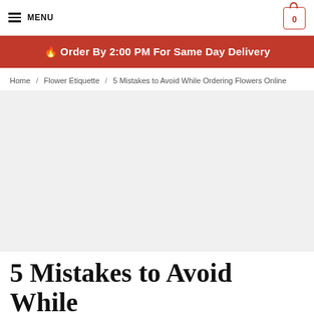MENU | 0
🔥 Order By 2:00 PM For Same Day Delivery
Home / Flower Etiquette / 5 Mistakes to Avoid While Ordering Flowers Online
5 Mistakes to Avoid While